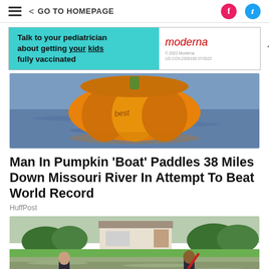GO TO HOMEPAGE
[Figure (photo): Advertisement banner: Talk to your pediatrician about getting your kids fully vaccinated - Moderna]
[Figure (photo): Man paddling inside a large orange pumpkin used as a boat on a river]
Man In Pumpkin 'Boat' Paddles 38 Miles Down Missouri River In Attempt To Beat World Record
HuffPost
[Figure (photo): Two men wading through floodwater in a residential neighborhood, each holding a red rod or tool]